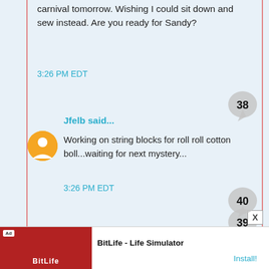carnival tomorrow. Wishing I could sit down and sew instead. Are you ready for Sandy?
3:26 PM EDT
Jfelb said...
Working on string blocks for roll roll cotton boll...waiting for next mystery...
3:26 PM EDT
Unknown said...
I'm working on a Christmas applique right now. Later I'm planning on piecing some half-circle blocks I pinned last night.
Shanon from Ohio
3:26 PM EDT
Meg E. said...
[Figure (screenshot): BitLife - Life Simulator advertisement banner at the bottom of the page]